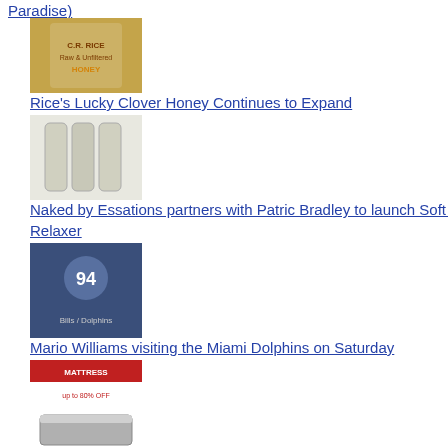Paradise)
Rice's Lucky Clover Honey Continues to Expand
Naked by Essations partners with Patric Bradley to launch Soft So Relaxer
Mario Williams visiting the Miami Dolphins on Saturday
Unique model has Mattress By Appointment disrupting traditional retail stores
Landmark Iran Nuclear Deal Inked
China bans all E-Cig exports